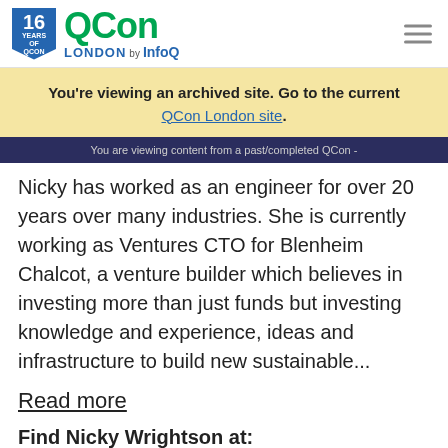16 YEARS OF QCON | QCon LONDON by InfoQ
You're viewing an archived site. Go to the current QCon London site.
You are viewing content from a past/completed QCon -
Nicky has worked as an engineer for over 20 years over many industries. She is currently working as Ventures CTO for Blenheim Chalcot, a venture builder which believes in investing more than just funds but investing knowledge and experience, ideas and infrastructure to build new sustainable...
Read more
Find Nicky Wrightson at:
[Figure (logo): Twitter and LinkedIn social media icons]